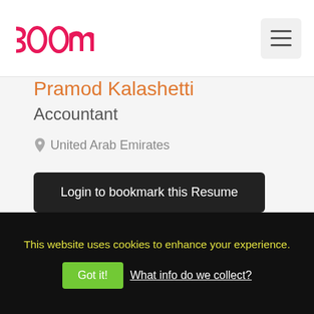[Figure (logo): Boom logo in pink/magenta color with stylized text '300m']
Pramod Kalashetti
Accountant
United Arab Emirates
Login to bookmark this Resume
This website uses cookies to enhance your experience.
Got it! What info do we collect?